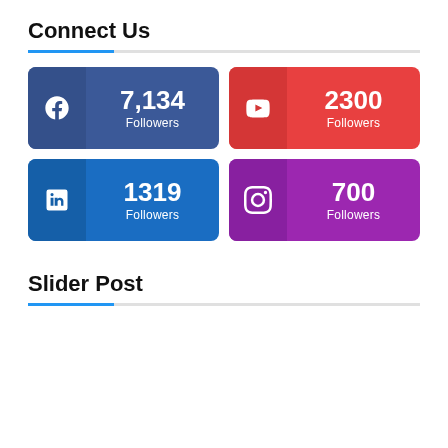Connect Us
[Figure (infographic): Four social media follower count cards: Facebook 7,134 Followers, YouTube 2300 Followers, LinkedIn 1319 Followers, Instagram 700 Followers]
Slider Post